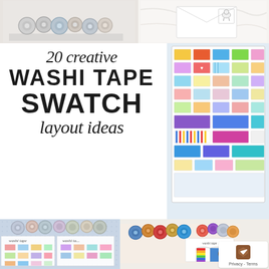[Figure (photo): Top left: washi tape rolls on a light background]
[Figure (photo): Top right: white envelope with a drawn sheep/animal stamp on marble surface]
20 creative WASHI TAPE SWATCH layout ideas
[Figure (photo): Right side: colorful washi tape swatch book pages with many small colorful tape swatches]
www.jihielephant.com
[Figure (photo): Bottom left: washi tape swatch journal pages labeled 'washi tape' with tape samples]
[Figure (photo): Bottom right: washi tape rolls arranged with a swatch journal page, showing 'washi tape' written in script with flag-style swatches]
Privacy - Terms